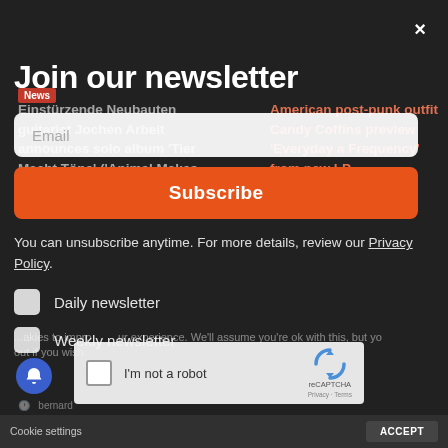[Figure (screenshot): Newsletter subscription modal overlay on a dark music news website. Shows a 'Join our newsletter' heading, email input field, orange Subscribe button, unsubscribe notice, Daily/Weekly newsletter checkboxes, and a reCAPTCHA widget at the bottom. Background shows blurred article headlines about Einstürzende Neubauten and Candy Coffins.]
Join our newsletter
Email
Subscribe
You can unsubscribe anytime. For more details, review our Privacy Policy.
Daily newsletter
Weekly newsletter
I'm not a robot
reCAPTCHA
Privacy - Terms
...okies to improve your experience. We'll assume you're ok with this, but you can opt-out if you wish.
ACCEPT